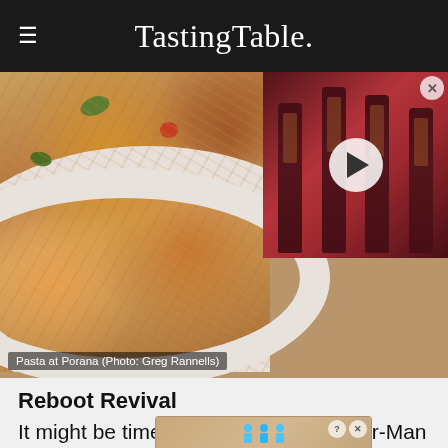TastingTable.
[Figure (photo): Bowl of pasta with vegetables at Porana restaurant, with a video overlay panel showing whiskey bottles and a play button]
Pasta at Porana (Photo: Greg Rannells)
Reboot Revival
It might be time to retire making Spider-Man movies... restaurant...